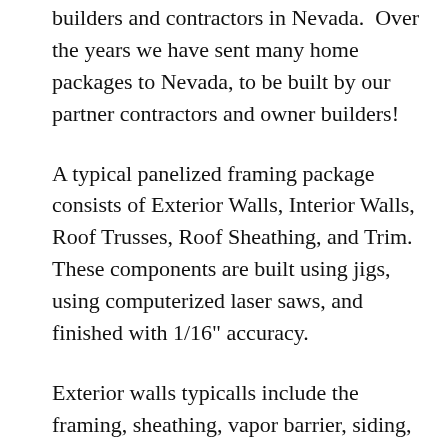builders and contractors in Nevada.  Over the years we have sent many home packages to Nevada, to be built by our partner contractors and owner builders!
A typical panelized framing package consists of Exterior Walls, Interior Walls, Roof Trusses, Roof Sheathing, and Trim.  These components are built using jigs, using computerized laser saws, and finished with 1/16" accuracy.
Exterior walls typicalls include the framing, sheathing, vapor barrier, siding, windows, and exterior doors installed, but Armstrong can modify this according to your building needs and local building codes.